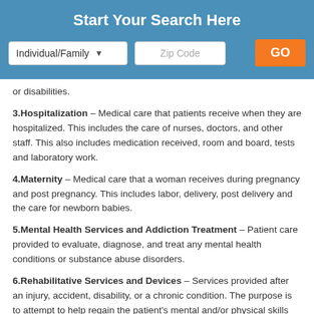Start Your Search Here
[Figure (screenshot): Search bar with Individual/Family dropdown, Zip Code input field, and orange GO button]
or disabilities.
3.Hospitalization – Medical care that patients receive when they are hospitalized. This includes the care of nurses, doctors, and other staff. This also includes medication received, room and board, tests and laboratory work.
4.Maternity – Medical care that a woman receives during pregnancy and post pregnancy. This includes labor, delivery, post delivery and the care for newborn babies.
5.Mental Health Services and Addiction Treatment – Patient care provided to evaluate, diagnose, and treat any mental health conditions or substance abuse disorders.
6.Rehabilitative Services and Devices – Services provided after an injury, accident, disability, or a chronic condition. The purpose is to attempt to help regain the patient's mental and/or physical skills that were lost (to make the person whole again).
7.Pediatric Services – Medical care that is provided to children and infants, including regular check-ups, recommended vaccines, dental and vision care.
8.Prescription Drugs – Medicine that is prescribed by a doctor, and nurse practitioner, to